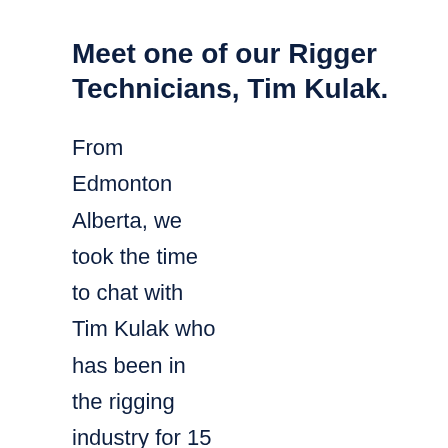Meet one of our Rigger Technicians, Tim Kulak.
From Edmonton Alberta, we took the time to chat with Tim Kulak who has been in the rigging industry for 15 years. He was first